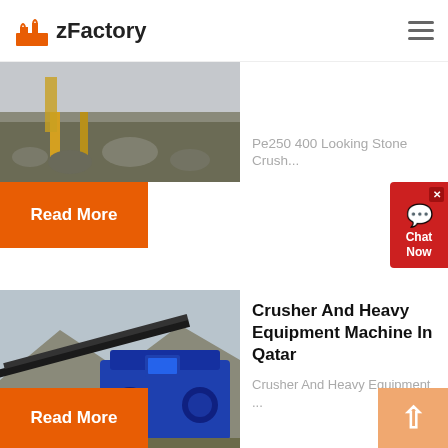zFactory
[Figure (photo): Partial view of stone crushing equipment / gravel site, cropped at bottom]
Pe250 400 Looking Stone Crush...
Read More
[Figure (other): Chat Now widget with speech bubble icon and close button]
[Figure (photo): Industrial crusher and conveyor belt equipment in a mountainous setting, blue machinery]
Crusher And Heavy Equipment Machine In Qatar
Crusher And Heavy Equipment ...
Read More